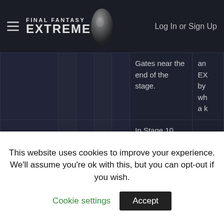FINAL FANTASY EXTREME — Log In or Sign Up
|  |  |  |  |  | Gates near the end of the stage. | an EX by wh a k |
|  |  |  |  |  | In Stage 10, after passing though the laser gate guarded by two large soldiers with rocket |  |
This website uses cookies to improve your experience. We'll assume you're ok with this, but you can opt-out if you wish.
Cookie settings   Accept